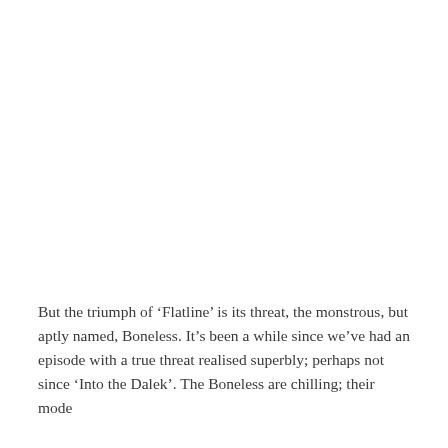But the triumph of ‘Flatline’ is its threat, the monstrous, but aptly named, Boneless. It’s been a while since we’ve had an episode with a true threat realised superbly; perhaps not since ‘Into the Dalek’. The Boneless are chilling; their mode